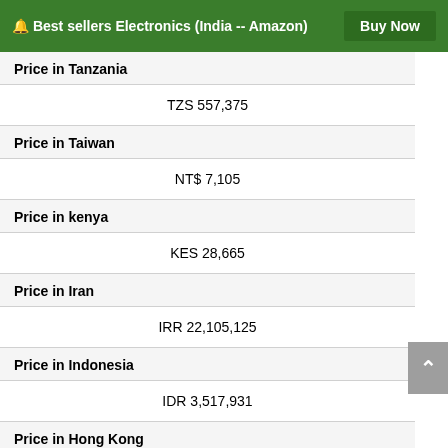🔔 Best sellers Electronics (India -- Amazon)  Buy Now
| Price in Tanzania | TZS 557,375 |
| Price in Taiwan | NT$ 7,105 |
| Price in kenya | KES 28,665 |
| Price in Iran | IRR 22,105,125 |
| Price in Indonesia | IDR 3,517,931 |
| Price in Hong Kong | HKD 1,593 |